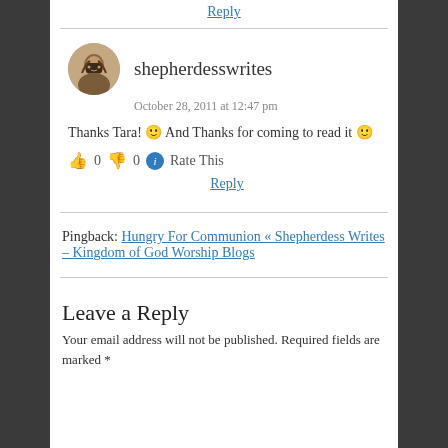Reply
[Figure (photo): Circular avatar photo of shepherdesswrites user]
shepherdesswrites
October 28, 2011 at 12:47 pm
Thanks Tara! 🙂 And Thanks for coming to read it 🙂
👍 0 👎 0 ℹ Rate This
Reply
Pingback: Hungry For Communion « Shepherdess Writes – Kingdom of God Worship Blogs
Leave a Reply
Your email address will not be published. Required fields are marked *